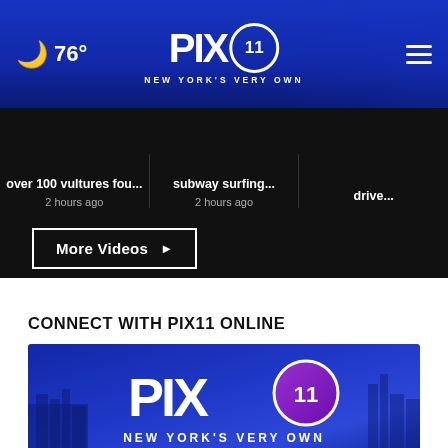🌙 76° | PIX11 NEW YORK'S VERY OWN | ☰
over 100 vultures fou... 2 hours ago
subway surfing... 2 hours ago
drive...
More Videos ▶
CONNECT WITH PIX11 ONLINE
[Figure (logo): PIX11 New York's Very Own logo on blue gradient background with city skyline silhouette]